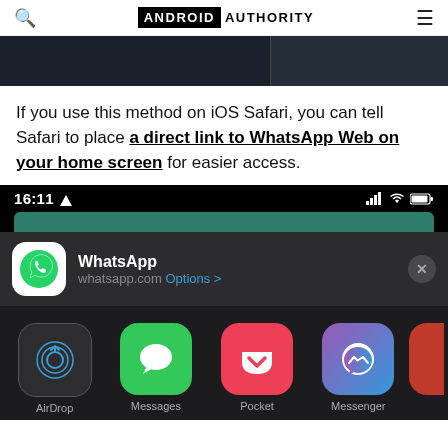ANDROID AUTHORITY
[Figure (screenshot): Partial dark screenshot at top of page showing a website header area]
If you use this method on iOS Safari, you can tell Safari to place a direct link to WhatsApp Web on your home screen for easier access.
[Figure (screenshot): iOS share sheet screenshot showing time 16:11, WhatsApp web shortcut option with whatsapp.com URL and Options link, close button, and app icons row: AirDrop, Messages, Pocket, Messenger, and a partial red icon at right]